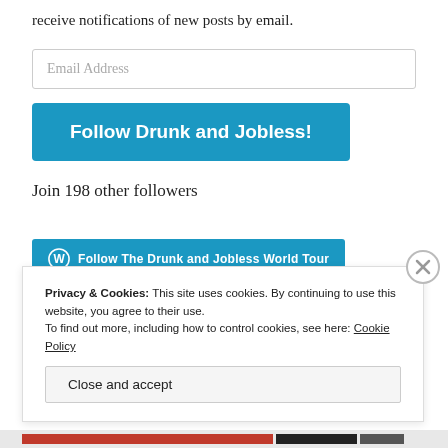receive notifications of new posts by email.
Email Address
Follow Drunk and Jobless!
Join 198 other followers
[Figure (other): WordPress follow button reading 'Follow The Drunk and Jobless World Tour' with WordPress logo icon on teal/blue background]
Privacy & Cookies: This site uses cookies. By continuing to use this website, you agree to their use.
To find out more, including how to control cookies, see here: Cookie Policy
Close and accept